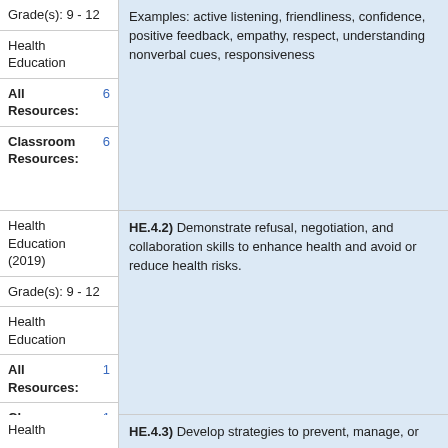| Metadata | Value |
| --- | --- |
| Grade(s): 9 - 12 | Examples: active listening, friendliness, confidence, positive feedback, empathy, respect, understanding nonverbal cues, responsiveness |
| Health Education |  |
| All Resources: | 6 |
| Classroom Resources: | 6 |
| Metadata | Value |
| --- | --- |
| Health Education (2019) | HE.4.2) Demonstrate refusal, negotiation, and collaboration skills to enhance health and avoid or reduce health risks. |
| Grade(s): 9 - 12 |  |
| Health Education |  |
| All Resources: | 1 |
| Classroom Resources: | 1 |
| Metadata | Value |
| --- | --- |
| Health | HE.4.3) Develop strategies to prevent, manage, or |